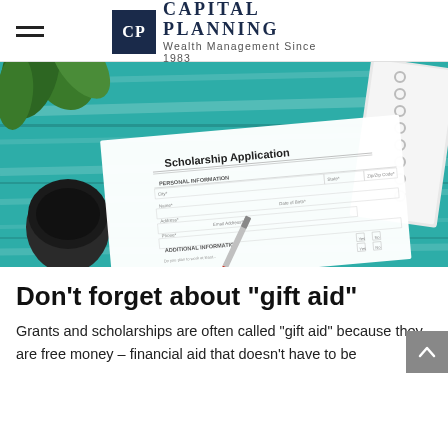CP | CAPITAL PLANNING Wealth Management Since 1983
[Figure (photo): A scholarship application form on a teal wooden table with a pen, a coffee mug, a plant, and a spiral notebook in the background.]
Don’t forget about "gift aid"
Grants and scholarships are often called “gift aid” because they are free money – financial aid that doesn’t have to be